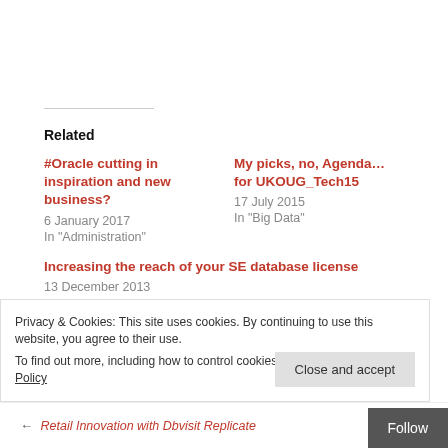Related
#Oracle cutting in inspiration and new business?
6 January 2017
In "Administration"
My picks, no, Agenda... for UKOUG_Tech15
17 July 2015
In "Big Data"
Increasing the reach of your SE database license
13 December 2013
Privacy & Cookies: This site uses cookies. By continuing to use this website, you agree to their use. To find out more, including how to control cookies, see here: Cookie Policy
← Retail Innovation with Dbvisit Replicate